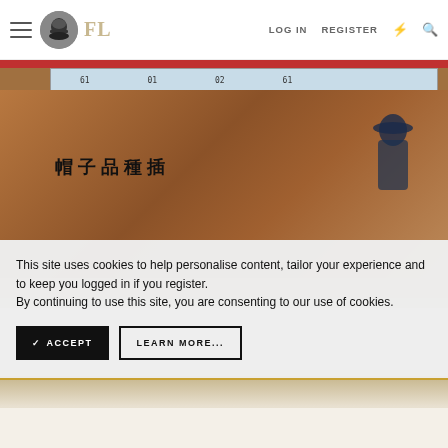FL — LOG IN  REGISTER
[Figure (photo): Photo of an old Japanese/Chinese hat catalog book cover showing Chinese characters and an illustration of a figure wearing a hat, with a ruler/scale visible at the top]
This site uses cookies to help personalise content, tailor your experience and to keep you logged in if you register.
By continuing to use this site, you are consenting to our use of cookies.
✓ ACCEPT   LEARN MORE...
[Figure (photo): Bottom portion showing a light-colored surface, partially visible]